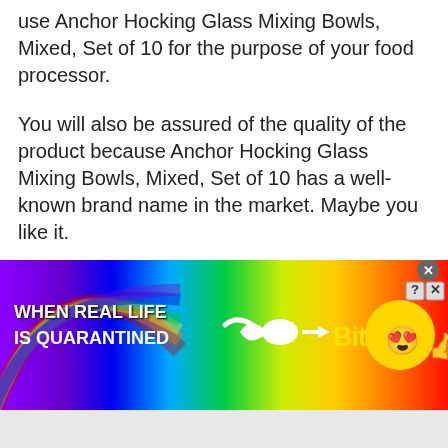use Anchor Hocking Glass Mixing Bowls, Mixed, Set of 10 for the purpose of your food processor.
You will also be assured of the quality of the product because Anchor Hocking Glass Mixing Bowls, Mixed, Set of 10 has a well-known brand name in the market. Maybe you like it.
Pros:
Have many bowls
Many sizes
[Figure (screenshot): BitLife advertisement banner with rainbow gradient background, showing text 'WHEN REAL LIFE IS QUARANTINED' on the left, a sperm/tadpole icon pointing to BitLife logo in yellow, and an emoji face with star eyes on the right. Close and help buttons visible in top-right corner.]